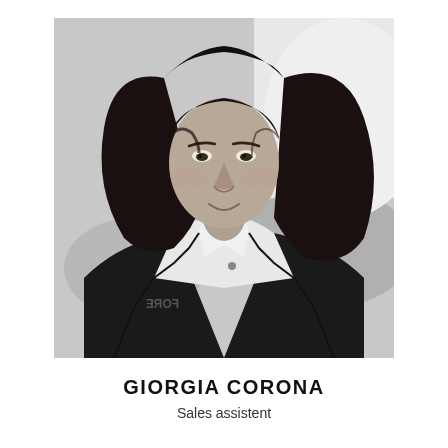[Figure (photo): Black and white portrait photo of Giorgia Corona, a woman with long dark wavy hair, wearing a white polo shirt with 'FORE' text partially visible and a dark jacket, photographed outdoors.]
GIORGIA CORONA
Sales assistent